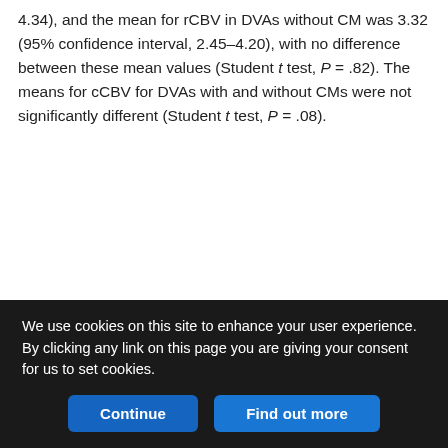4.34), and the mean for rCBV in DVAs without CM was 3.32 (95% confidence interval, 2.45–4.20), with no difference between these mean values (Student t test, P = .82). The means for cCBV for DVAs with and without CMs were not significantly different (Student t test, P = .08).
[Figure (other): Figure panel area showing a white box within a light gray bordered region, content partially visible.]
We use cookies on this site to enhance your user experience. By clicking any link on this page you are giving your consent for us to set cookies.